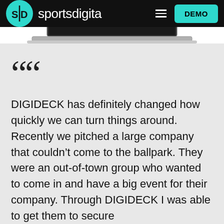sportsdigita — DEMO
[Figure (screenshot): Partial view of a laptop computer showing a dark screen, against a white background]
““ DIGIDECK has definitely changed how quickly we can turn things around. Recently we pitched a large company that couldn’t come to the ballpark. They were an out-of-town group who wanted to come in and have a big event for their company. Through DIGIDECK I was able to get them to secure